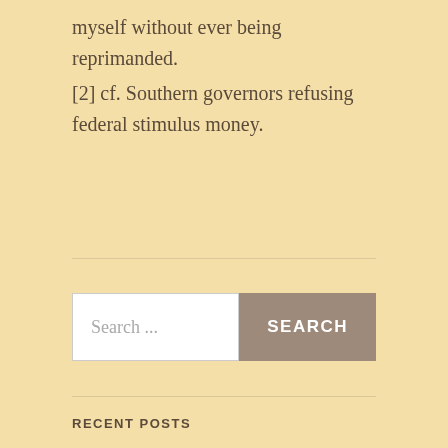myself without ever being reprimanded.
[2] cf. Southern governors refusing federal stimulus money.
Search ...
RECENT POSTS